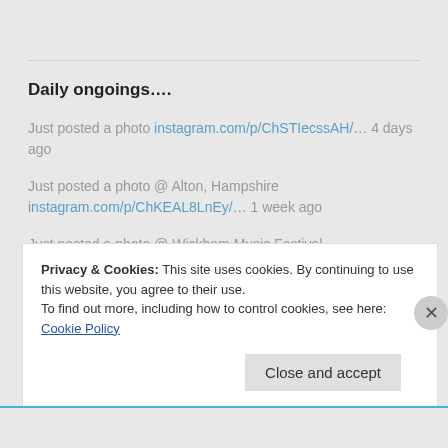Daily ongoings….
Just posted a photo instagram.com/p/ChSTIecssAH/… 4 days ago
Just posted a photo @ Alton, Hampshire instagram.com/p/ChKEAL8LnEy/… 1 week ago
Just posted a photo @ Wickham Music Festival instagram.com/p/Cg9w2o0MthR/… 1 week ago
Privacy & Cookies: This site uses cookies. By continuing to use this website, you agree to their use. To find out more, including how to control cookies, see here: Cookie Policy
Close and accept